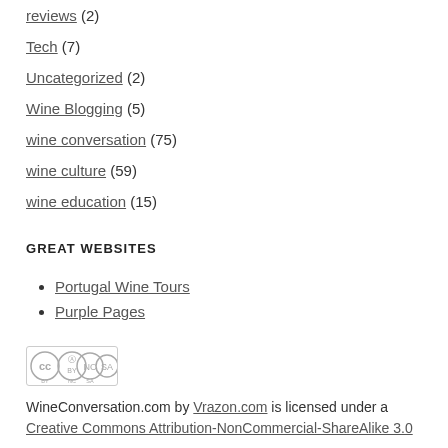reviews (2)
Tech (7)
Uncategorized (2)
Wine Blogging (5)
wine conversation (75)
wine culture (59)
wine education (15)
GREAT WEBSITES
Portugal Wine Tours
Purple Pages
[Figure (logo): Creative Commons BY-NC-SA license badge]
WineConversation.com by Vrazon.com is licensed under a Creative Commons Attribution-NonCommercial-ShareAlike 3.0